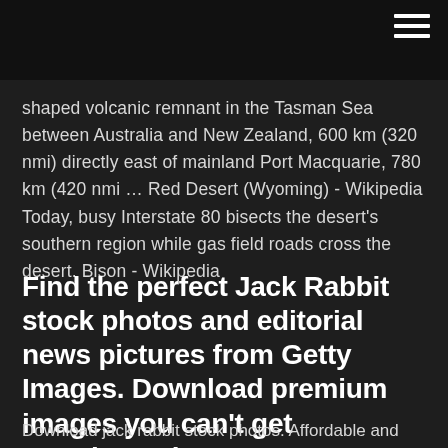shaped volcanic remnant in the Tasman Sea between Australia and New Zealand, 600 km (320 nmi) directly east of mainland Port Macquarie, 780 km (420 nmi … Red Desert (Wyoming) - Wikipedia Today, busy Interstate 80 bisects the desert's southern region while gas field roads cross the desert. Bison - Wikipedia
Find the perfect Jack Rabbit stock photos and editorial news pictures from Getty Images. Download premium images you can't get anywhere else.
Download jack rabbit stock photos. Affordable and search